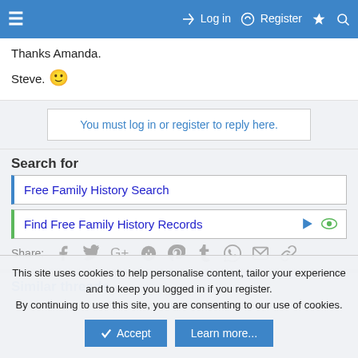≡  Log in  Register  ⚡  🔍
Thanks Amanda.

Steve. 🙂
You must log in or register to reply here.
Search for
Free Family History Search
Find Free Family History Records
Share:  Facebook  Twitter  Google+  Reddit  Pinterest  Tumblr  WhatsApp  Email  Link
Similar threads
This site uses cookies to help personalise content, tailor your experience and to keep you logged in if you register.
By continuing to use this site, you are consenting to our use of cookies.
Accept  Learn more...